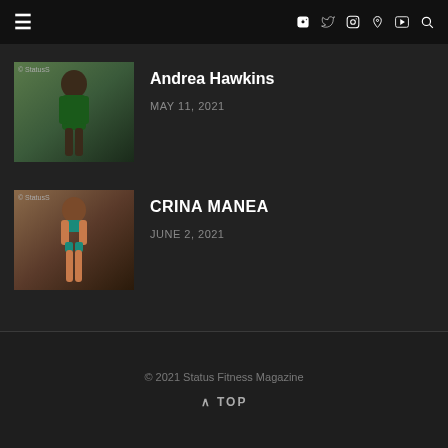≡  f  twitter  instagram  pinterest  youtube  search
[Figure (photo): Thumbnail photo of Andrea Hawkins in green outfit, with Status watermark]
Andrea Hawkins
MAY 11, 2021
[Figure (photo): Thumbnail photo of Crina Manea in teal bikini competition outfit, with Status watermark]
CRINA MANEA
JUNE 2, 2021
© 2021 Status Fitness Magazine  ∧ TOP